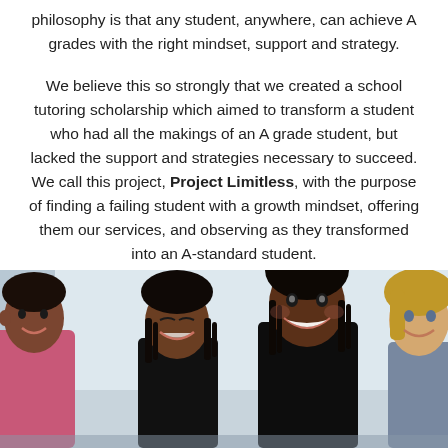philosophy is that any student, anywhere, can achieve A grades with the right mindset, support and strategy.
We believe this so strongly that we created a school tutoring scholarship which aimed to transform a student who had all the makings of an A grade student, but lacked the support and strategies necessary to succeed. We call this project, Project Limitless, with the purpose of finding a failing student with a growth mindset, offering them our services, and observing as they transformed into an A-standard student.
[Figure (photo): Photo of four smiling students/people sitting at a table, appearing to be in a classroom or meeting room setting. A whiteboard is visible in the background.]